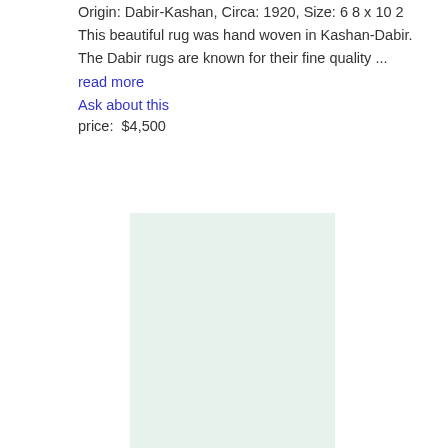Origin: Dabir-Kashan, Circa: 1920, Size: 6 8 x 10 2
This beautiful rug was hand woven in Kashan-Dabir. The Dabir rugs are known for their fine quality ...
read more
Ask about this
price:  $4,500
[Figure (photo): A light mint/green colored rectangular placeholder area representing a rug product image]